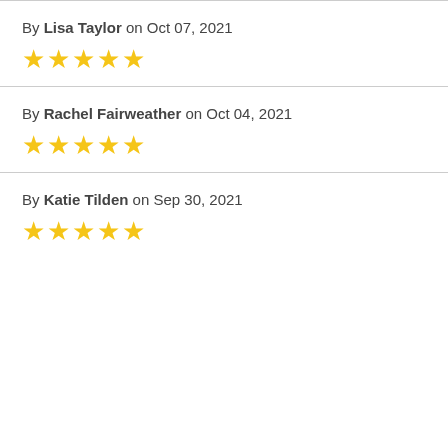By Lisa Taylor on Oct 07, 2021
[Figure (other): 5 yellow stars rating]
By Rachel Fairweather on Oct 04, 2021
[Figure (other): 5 yellow stars rating]
By Katie Tilden on Sep 30, 2021
[Figure (other): 5 yellow stars rating]